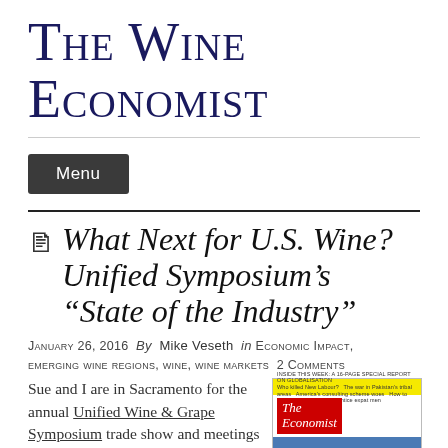The Wine Economist
Menu
What Next for U.S. Wine? Unified Symposium's “State of the Industry”
January 26, 2016 By Mike Veseth in Economic Impact, Emerging Wine Regions, Wine, Wine Markets 2 Comments
Sue and I are in Sacramento for the annual Unified Wine & Grape Symposium trade show and meetings that start today and run
[Figure (photo): Cover of The Economist magazine showing 'What next?' headline with blue background and globe/water imagery, with yellow top bar and red logo block.]